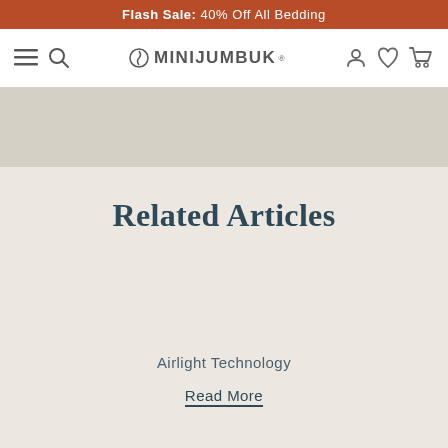Flash Sale: 40% Off All Bedding
[Figure (screenshot): MiniJumbuk website navigation bar with hamburger menu, search icon, MiniJumbuk logo, user account icon, wishlist heart icon, and shopping cart icon]
Related Articles
Airlight Technology
Read More